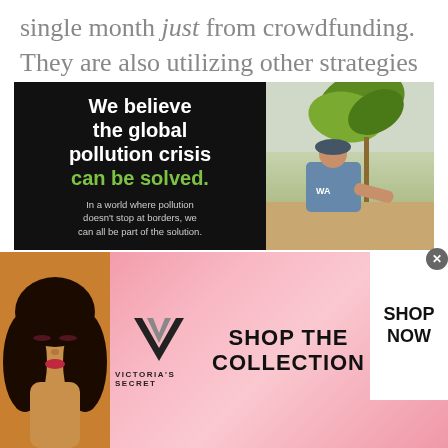single month just from crowdfunding. They are also utilizing other strategies discussed—selling merch, sponsor, etc.
[Figure (infographic): Pure Earth advertisement with black background on left showing bold white text 'We believe the global pollution crisis can be solved.' with 'can be solved.' in green, subtext 'In a world where pollution doesn't stop at borders, we can all be part of the solution.', 'JOIN US.' in orange/gold, Pure Earth logo at bottom. Right side shows a photo of a person planting near a large leafy plant.]
[Figure (infographic): Victoria's Secret banner advertisement on pink gradient background featuring a woman's photo on left, Victoria's Secret logo (VS) in center with brand name below, 'SHOP THE COLLECTION' text in bold black, and a white 'SHOP NOW' button on right.]